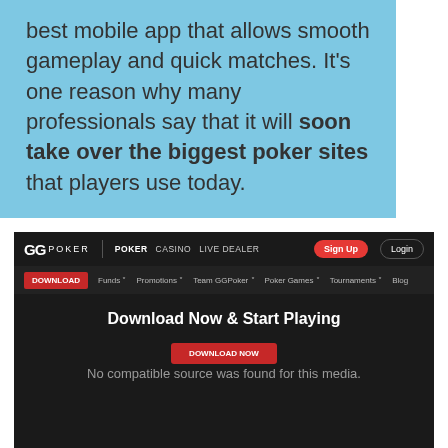best mobile app that allows smooth gameplay and quick matches. It’s one reason why many professionals say that it will soon take over the biggest poker sites that players use today.
[Figure (screenshot): Screenshot of the GGPoker website showing navigation bar with POKER, CASINO, LIVE DEALER links, Sign Up and Login buttons, Download button, and a dark-themed page with 'Download Now & Start Playing' headline and a DOWNLOAD NOW button, overlaid with a 'No compatible source was found for this media.' error message, and an Amazon forest conservation advertisement below.]